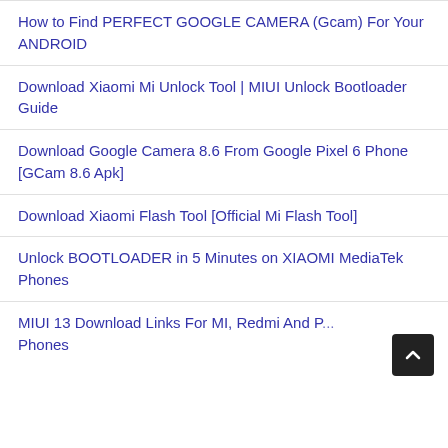How to Find PERFECT GOOGLE CAMERA (Gcam) For Your ANDROID
Download Xiaomi Mi Unlock Tool | MIUI Unlock Bootloader Guide
Download Google Camera 8.6 From Google Pixel 6 Phone [GCam 8.6 Apk]
Download Xiaomi Flash Tool [Official Mi Flash Tool]
Unlock BOOTLOADER in 5 Minutes on XIAOMI MediaTek Phones
MIUI 13 Download Links For MI, Redmi And P... Phones